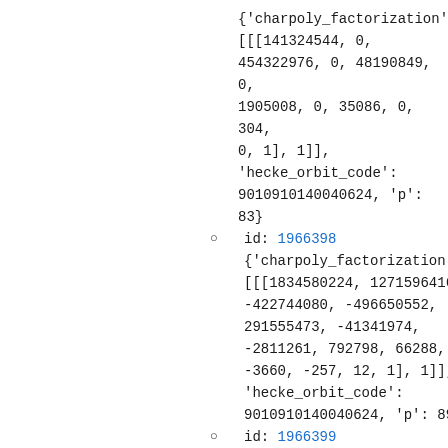{'charpoly_factorization': [[[141324544, 0, 454322976, 0, 48190849, 0, 1905008, 0, 35086, 0, 304, 0, 1], 1]], 'hecke_orbit_code': 9010910140040624, 'p': 83}
id: 1966398
{'charpoly_factorization': [[[1834580224, 1271596416, -422744080, -496650552, 291555473, -41341974, -2811261, 792798, 66288, -3660, -257, 12, 1], 1]], 'hecke_orbit_code': 9010910140040624, 'p': 89}
id: 1966399
{'charpoly_factorization': [[[53465344, 190755456, 211235504, -55750056,